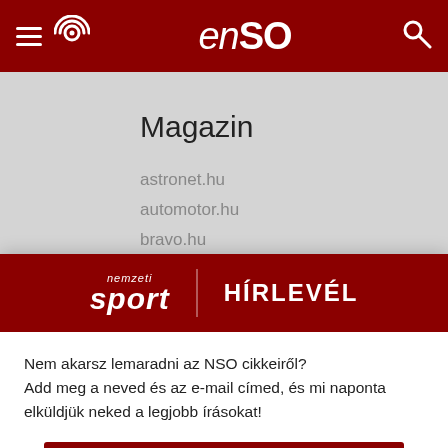enso – navigation header with hamburger, radio and search icons
Magazin
astronet.hu
automotor.hu
bravo.hu
dietaesfitnesz.hu
lakaskultura.hu
[Figure (screenshot): Nemzeti Sport newsletter popup overlay with dark red header showing 'nemzeti sport' logo and 'HÍRLEVÉL' text, body text asking user to subscribe, a red subscribe button labeled 'FELIRATKOZOM A HÍRLEVÉLRE', and a 'Bezárás' close link]
Nem akarsz lemaradni az NSO cikkeiről? Add meg a neved és az e-mail címed, és mi naponta elküldjük neked a legjobb írásokat!
FELIRATKOZOM A HÍRLEVÉLRE
Bezárás